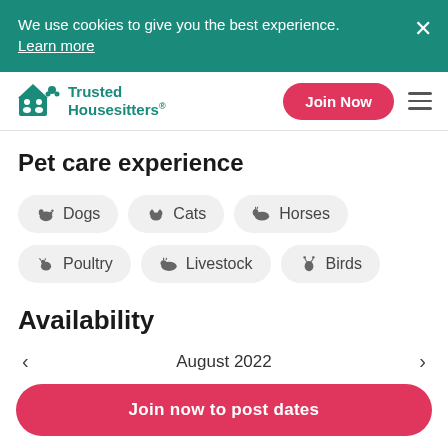We use cookies to give you the best experience. Learn more
[Figure (logo): Trusted Housesitters logo with teal icon and text]
Pet care experience
Dogs
Cats
Horses
Poultry
Livestock
Birds
Availability
August 2022
Join now to post dates